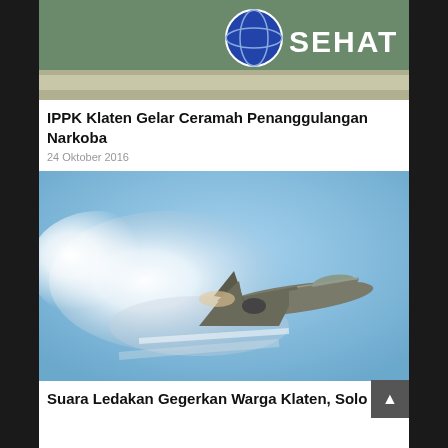[Figure (photo): Partial view of a banner with 'SEHAT YES' text and a globe icon, on a greenish outdoor background]
IPPK Klaten Gelar Ceramah Penanggulangan Narkoba
24 Oktober 2016
[Figure (photo): A military jet fighter aircraft flying at high speed with a vapor cone/condensation cloud around it against a blue sky]
Suara Ledakan Gegerkan Warga Klaten, Solo dan